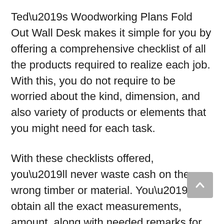Ted’s Woodworking Plans Fold Out Wall Desk makes it simple for you by offering a comprehensive checklist of all the products required to realize each job. With this, you do not require to be worried about the kind, dimension, and also variety of products or elements that you might need for each task.
With these checklists offered, you’ll never waste cash on the wrong timber or material. You’ll obtain all the exact measurements, amount, along with needed remarks for each task.
Complying with all the details in the